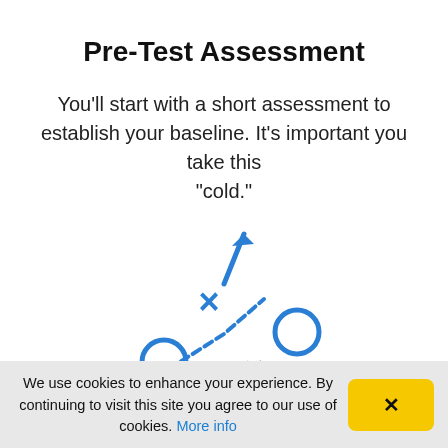Pre-Test Assessment
You'll start with a short assessment to establish your baseline. It's important you take this "cold."
[Figure (illustration): Blue sports play diagram with circles (O), X marks, arrows and dashed lines representing a football play strategy]
We use cookies to enhance your experience. By continuing to visit this site you agree to our use of cookies. More info